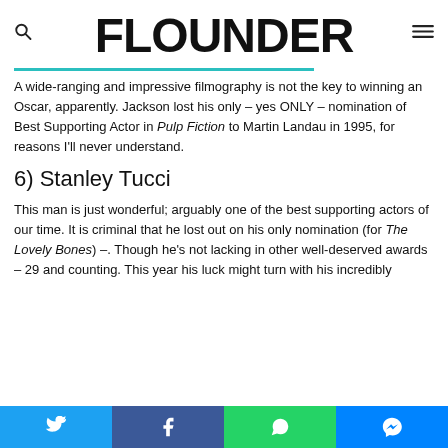FLOUNDER
A wide-ranging and impressive filmography is not the key to winning an Oscar, apparently. Jackson lost his only – yes ONLY – nomination of Best Supporting Actor in Pulp Fiction to Martin Landau in 1995, for reasons I'll never understand.
6) Stanley Tucci
This man is just wonderful; arguably one of the best supporting actors of our time. It is criminal that he lost out on his only nomination (for The Lovely Bones) –. Though he's not lacking in other well-deserved awards – 29 and counting. This year his luck might turn with his incredibly